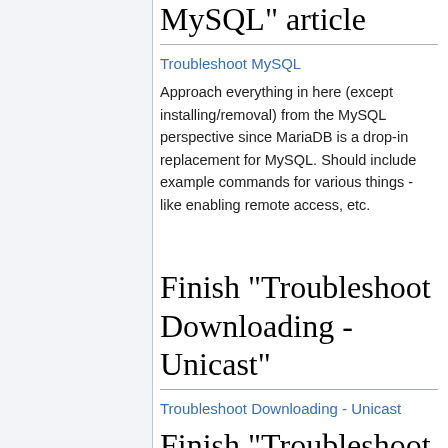MySQL” article
Troubleshoot MySQL
Approach everything in here (except installing/removal) from the MySQL perspective since MariaDB is a drop-in replacement for MySQL. Should include example commands for various things - like enabling remote access, etc.
Finish "Troubleshoot Downloading - Unicast"
Troubleshoot Downloading - Unicast
Finish "Troubleshoot Downloading -